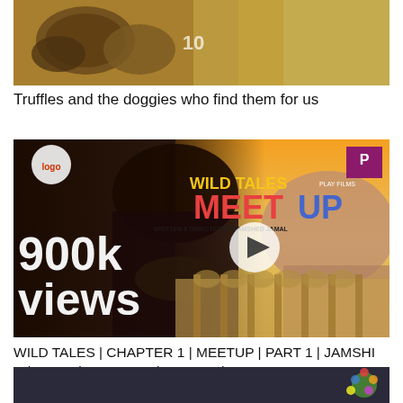[Figure (photo): Cropped thumbnail image of truffles with golden/brown textured food items]
Truffles and the doggies who find them for us
[Figure (screenshot): Video thumbnail for Wild Tales Meetup Chapter 1 showing two people, 900k views text overlay, Wild Tales Meetup title, written and directed by Jamshed Jamal, Play Films logo, play button overlay]
WILD TALES | CHAPTER 1 | MEETUP | PART 1 | JAMSHID | AMAN | ABHIRAMI | SUDHIN |
[Figure (photo): Partial bottom thumbnail showing dark background with colorful design element]